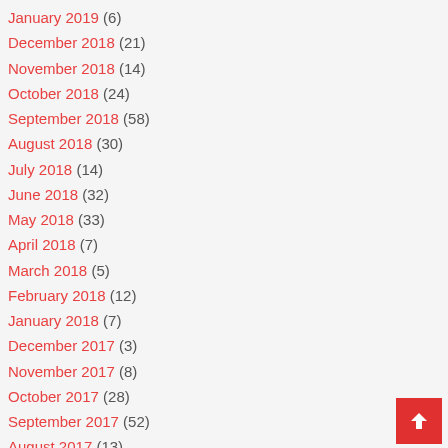January 2019 (6)
December 2018 (21)
November 2018 (14)
October 2018 (24)
September 2018 (58)
August 2018 (30)
July 2018 (14)
June 2018 (32)
May 2018 (33)
April 2018 (7)
March 2018 (5)
February 2018 (12)
January 2018 (7)
December 2017 (3)
November 2017 (8)
October 2017 (28)
September 2017 (52)
August 2017 (13)
July 2017 (33)